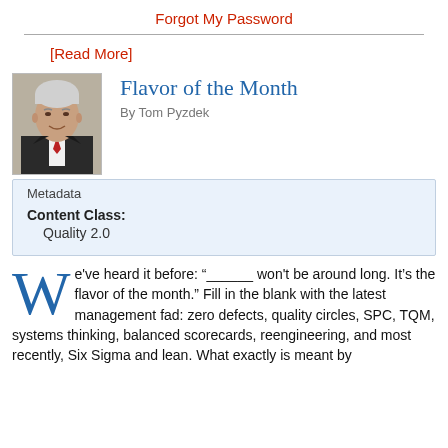Forgot My Password
[Read More]
Flavor of the Month
By Tom Pyzdek
[Figure (photo): Headshot of Tom Pyzdek, an older man in a suit with a red tie, smiling]
| Metadata |
| --- |
| Content Class: | Quality 2.0 |
We've heard it before: “______ won't be around long. It’s the flavor of the month.” Fill in the blank with the latest management fad: zero defects, quality circles, SPC, TQM, systems thinking, balanced scorecards, reengineering, and most recently, Six Sigma and lean. What exactly is meant by